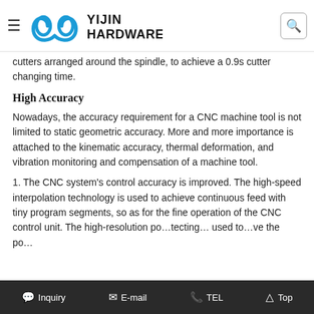Yijin Hardware — navigation bar with logo, hamburger menu, and search icon
cutters arranged around the spindle, to achieve a 0.9s cutter changing time.
High Accuracy
Nowadays, the accuracy requirement for a CNC machine tool is not limited to static geometric accuracy. More and more importance is attached to the kinematic accuracy, thermal deformation, and vibration monitoring and compensation of a machine tool.
1. The CNC system's control accuracy is improved. The high-speed interpolation technology is used to achieve continuous feed with tiny program segments, so as for the fine operation of the CNC control unit. The high-resolution position detecting is used to improve the po…
Inquiry   E-mail   TEL   Top